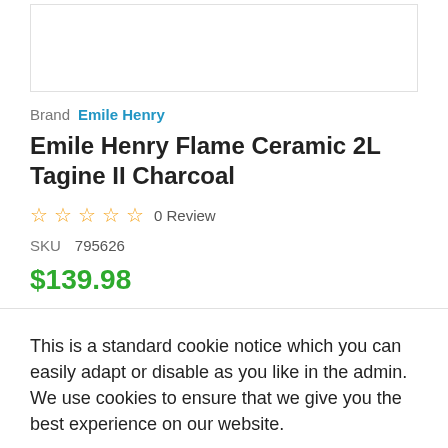[Figure (other): Product image placeholder (white box with border)]
Brand  Emile Henry
Emile Henry Flame Ceramic 2L Tagine II Charcoal
☆☆☆☆☆ 0 Review
SKU  795626
$139.98
This is a standard cookie notice which you can easily adapt or disable as you like in the admin. We use cookies to ensure that we give you the best experience on our website.
Cookie Policy  ACCEPT